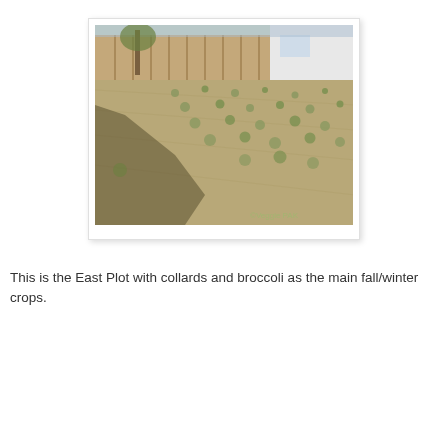[Figure (photo): Outdoor photo of the East Plot garden area showing a large dry grassy field with small seedlings or plants scattered throughout. A wooden fence runs along the back and right side, and a white structure (garage or shed) is visible in the upper right. A shadow falls across the lower left portion of the image. A watermark reading '©Veggie PAK' appears in the lower right corner.]
This is the East Plot with collards and broccoli as the main fall/winter crops.